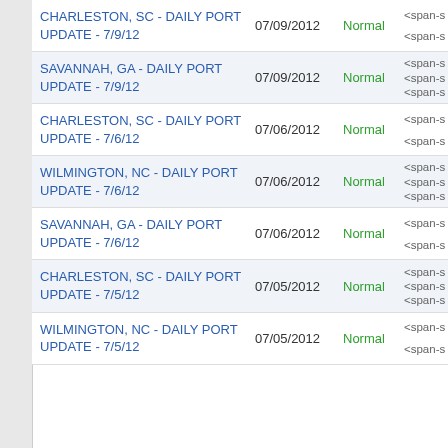| Title | Date | Status |  |
| --- | --- | --- | --- |
| CHARLESTON, SC - DAILY PORT UPDATE - 7/9/12 | 07/09/2012 | Normal | <span-size... |
| SAVANNAH, GA - DAILY PORT UPDATE - 7/9/12 | 07/09/2012 | Normal | <span-size... |
| CHARLESTON, SC - DAILY PORT UPDATE - 7/6/12 | 07/06/2012 | Normal | <span-size... |
| WILMINGTON, NC - DAILY PORT UPDATE - 7/6/12 | 07/06/2012 | Normal | <span-size... |
| SAVANNAH, GA - DAILY PORT UPDATE - 7/6/12 | 07/06/2012 | Normal | <span-size... |
| CHARLESTON, SC - DAILY PORT UPDATE - 7/5/12 | 07/05/2012 | Normal | <span-size... |
| WILMINGTON, NC - DAILY PORT UPDATE - 7/5/12 | 07/05/2012 | Normal | <span-size... |